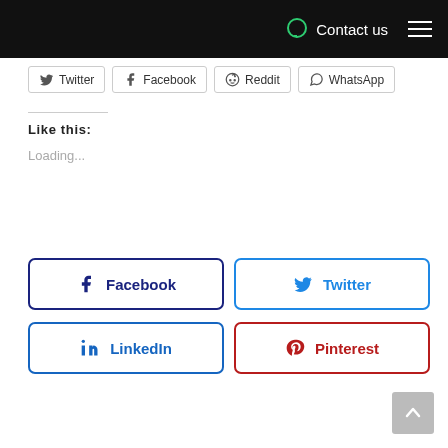Contact us
[Figure (screenshot): Social share buttons row: Twitter, Facebook, Reddit, WhatsApp]
Like this:
Loading...
[Figure (screenshot): Social follow buttons grid: Facebook, Twitter, LinkedIn, Pinterest]
[Figure (other): Scroll to top button]